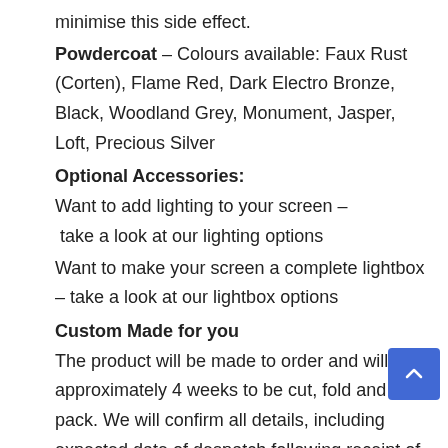minimise this side effect.
Powdercoat – Colours available: Faux Rust (Corten), Flame Red, Dark Electro Bronze, Black, Woodland Grey, Monument, Jasper, Loft, Precious Silver
Optional Accessories:
Want to add lighting to your screen – take a look at our lighting options
Want to make your screen a complete lightbox – take a look at our lightbox options
Custom Made for you
The product will be made to order and will take approximately 4 weeks to be cut, fold and pack. We will confirm all details,  including expected date of despatch following receipt of order.
Shipping options